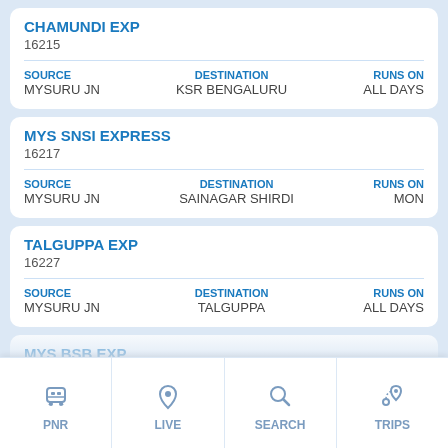CHAMUNDI EXP
16215
SOURCE: MYSURU JN | DESTINATION: KSR BENGALURU | RUNS ON: ALL DAYS
MYS SNSI EXPRESS
16217
SOURCE: MYSURU JN | DESTINATION: SAINAGAR SHIRDI | RUNS ON: MON
TALGUPPA EXP
16227
SOURCE: MYSURU JN | DESTINATION: TALGUPPA | RUNS ON: ALL DAYS
MYS BSB EXP
16229
SOURCE: MYSURU JN | DESTINATION: VARANASI | RUNS ON: THU
PNR | LIVE | SEARCH | TRIPS